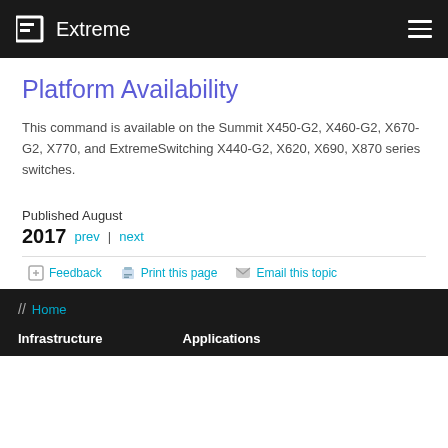Extreme
Platform Availability
This command is available on the Summit X450-G2, X460-G2, X670-G2, X770, and ExtremeSwitching X440-G2, X620, X690, X870 series switches.
Published August 2017  prev | next
Feedback  Print this page  Email this topic
// Home  Infrastructure  Applications